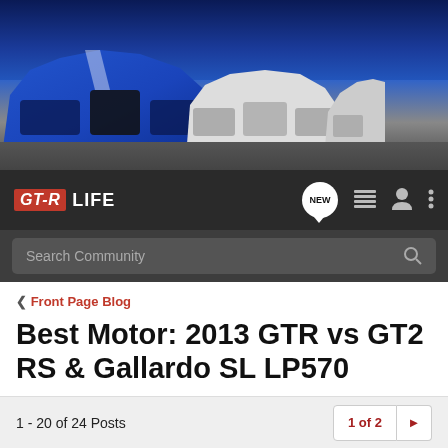[Figure (photo): Hero image showing multiple generations of Nissan GT-R cars lined up, with a blue modern GT-R in the foreground and white classic GT-Rs in the background]
GT-R LIFE
Search Community
< Front Page Blog
Best Motor: 2013 GTR vs GT2 RS & Gallardo SL LP570
→ Jump to Latest
+ Follow
1 - 20 of 24 Posts
1 of 2 ▶